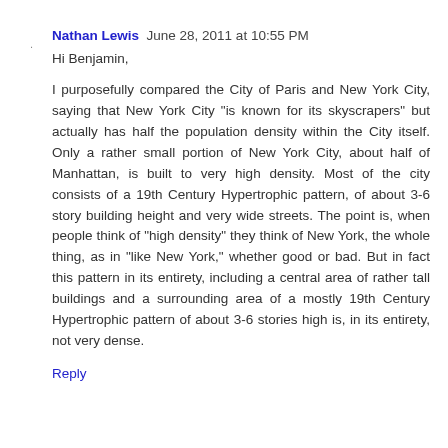Nathan Lewis  June 28, 2011 at 10:55 PM
Hi Benjamin,
I purposefully compared the City of Paris and New York City, saying that New York City "is known for its skyscrapers" but actually has half the population density within the City itself. Only a rather small portion of New York City, about half of Manhattan, is built to very high density. Most of the city consists of a 19th Century Hypertrophic pattern, of about 3-6 story building height and very wide streets. The point is, when people think of "high density" they think of New York, the whole thing, as in "like New York," whether good or bad. But in fact this pattern in its entirety, including a central area of rather tall buildings and a surrounding area of a mostly 19th Century Hypertrophic pattern of about 3-6 stories high is, in its entirety, not very dense.
Reply